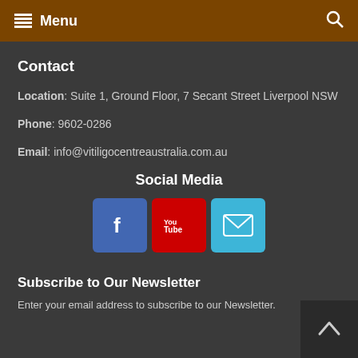Menu
Contact
Location: Suite 1, Ground Floor, 7 Secant Street Liverpool NSW
Phone: 9602-0286
Email: info@vitiligocentreaustralia.com.au
Social Media
[Figure (other): Social media icons: Facebook (blue), YouTube (red), Email (light blue)]
Subscribe to Our Newsletter
Enter your email address to subscribe to our Newsletter.